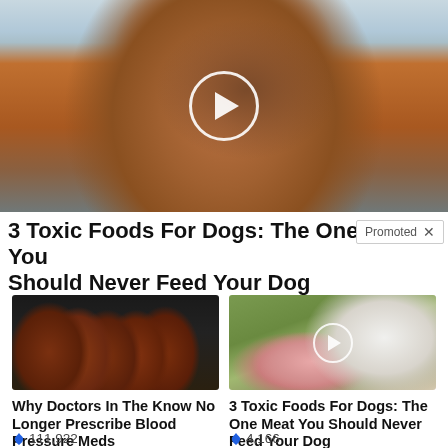[Figure (photo): Dog wearing a pumpkin Halloween costume with tongue out, near a pool, with a video play button overlay]
3 Toxic Foods For Dogs: The One Meat You Should Never Feed Your Dog
Promoted ×
[Figure (photo): Several dark amber prescription pill bottles arranged in a row on a dark surface]
Why Doctors In The Know No Longer Prescribe Blood Pressure Meds
🔥 111,922
[Figure (photo): Golden retriever dog next to a tray of raw ground meat, with a video play button overlay]
3 Toxic Foods For Dogs: The One Meat You Should Never Feed Your Dog
🔥 4,166